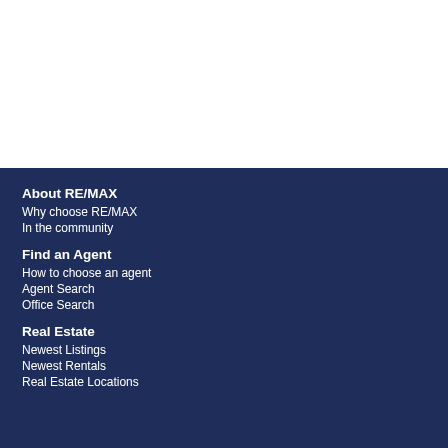About RE/MAX
Why choose RE/MAX
In the community
Find an Agent
How to choose an agent
Agent Search
Office Search
Real Estate
Newest Listings
Newest Rentals
Real Estate Locations